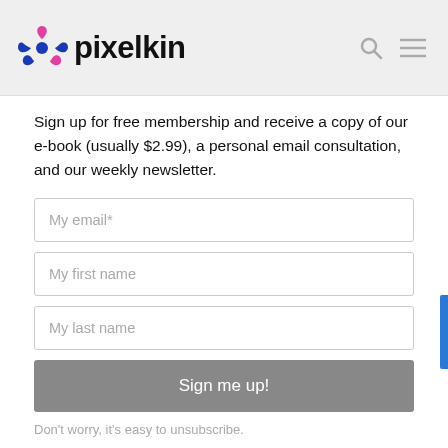pixelkin
Sign up for free membership and receive a copy of our e-book (usually $2.99), a personal email consultation, and our weekly newsletter.
My email*
My first name
My last name
Sign me up!
Don't worry, it's easy to unsubscribe.